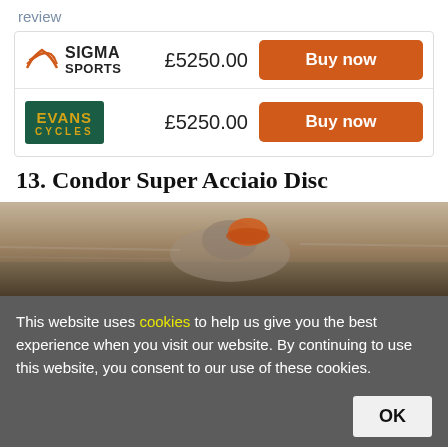review
| Retailer | Price | Action |
| --- | --- | --- |
| Sigma Sports | £5250.00 | Buy now |
| Evans Cycles | £5250.00 | Buy now |
13. Condor Super Acciaio Disc
[Figure (photo): Cyclist riding at speed, motion-blurred outdoor scene with an orange helmet visible]
This website uses cookies to help us give you the best experience when you visit our website. By continuing to use this website, you consent to our use of these cookies.